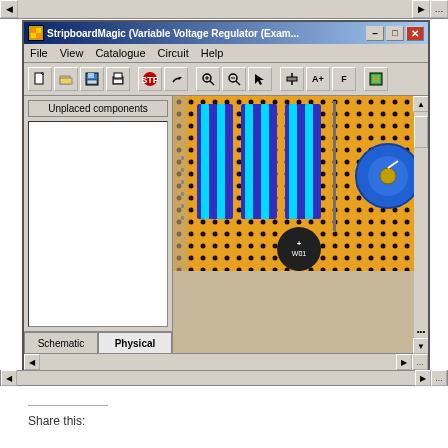[Figure (screenshot): Screenshot of StripboardMagic software showing a Variable Voltage Regulator circuit in Physical view. The window has a title bar 'StripboardMagic (Variable Voltage Regulator (Exam...)', menu bar with File, View, Catalogue, Circuit, Help, and a toolbar with various icons. The left panel shows 'Unplaced components' list (empty) with Schematic and Physical tabs at the bottom. The right panel shows an orange stripboard with blue/cyan capacitors, a blue potentiometer, red and grey components placed on the board.]
Share this: